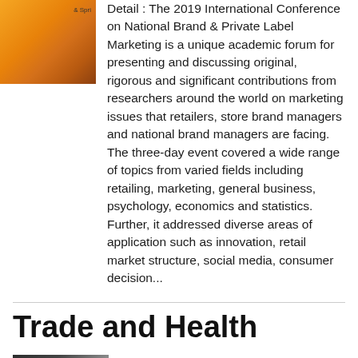[Figure (photo): Book cover thumbnail with orange/yellow gradient design and partial text '& Spri']
Detail : The 2019 International Conference on National Brand & Private Label Marketing is a unique academic forum for presenting and discussing original, rigorous and significant contributions from researchers around the world on marketing issues that retailers, store brand managers and national brand managers are facing. The three-day event covered a wide range of topics from varied fields including retailing, marketing, general business, psychology, economics and statistics. Further, it addressed diverse areas of application such as innovation, retail market structure, social media, consumer decision...
Trade and Health
[Figure (photo): Book cover thumbnail with dark grey gradient design]
Author : Chantal Blouin